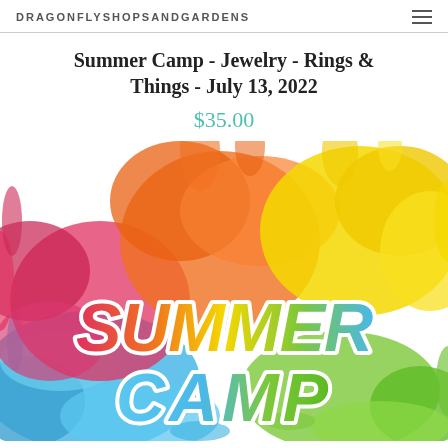DRAGONFLYSHOPSANDGARDENS
Summer Camp - Jewelry - Rings & Things - July 13, 2022
$35.00
[Figure (illustration): Colorful watercolor paint splash with red, orange, yellow, green, and blue colors. Overlaid with a sticker-style text reading 'SUMMER CAMP' in large bold italic rainbow-colored letters with white outline.]